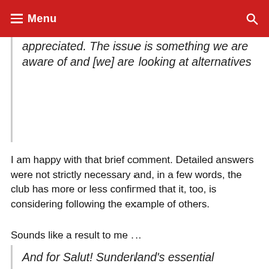≡ Menu
appreciated. The issue is something we are aware of and [we] are looking at alternatives
I am happy with that brief comment. Detailed answers were not strictly necessary and, in a few words, the club has more or less confirmed that it, too, is considering following the example of others.
Sounds like a result to me …
And for Salut! Sunderland's essential